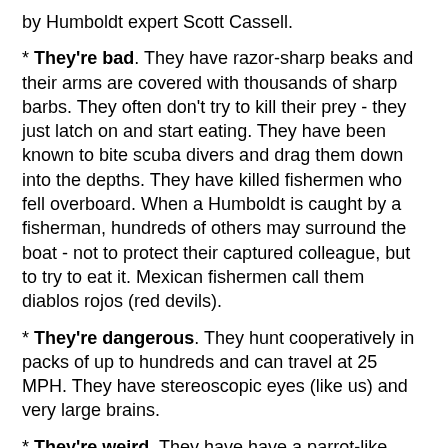by Humboldt expert Scott Cassell.
* They're bad. They have razor-sharp beaks and their arms are covered with thousands of sharp barbs. They often don't try to kill their prey - they just latch on and start eating. They have been known to bite scuba divers and drag them down into the depths. They have killed fishermen who fell overboard. When a Humboldt is caught by a fisherman, hundreds of others may surround the boat - not to protect their captured colleague, but to try to eat it. Mexican fishermen call them diablos rojos (red devils).
* They're dangerous. They hunt cooperatively in packs of up to hundreds and can travel at 25 MPH. They have stereoscopic eyes (like us) and very large brains.
* They're weird. They have have a parrot-like beak, three hearts and blue blood. They can change color several times a second, from deep red to white. They prefer to hang out in the least-oxygenated part of the ocean where virtually nothing else can survive, but they can live at higher depths as well.